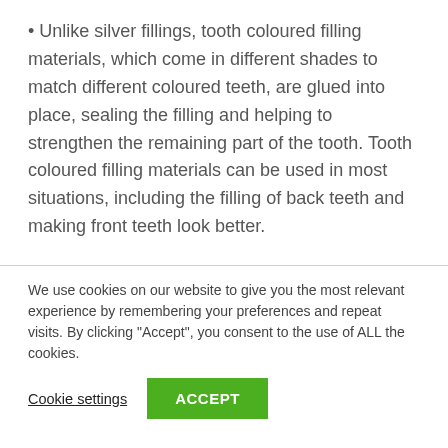• Unlike silver fillings, tooth coloured filling materials, which come in different shades to match different coloured teeth, are glued into place, sealing the filling and helping to strengthen the remaining part of the tooth. Tooth coloured filling materials can be used in most situations, including the filling of back teeth and making front teeth look better.
We use cookies on our website to give you the most relevant experience by remembering your preferences and repeat visits. By clicking "Accept", you consent to the use of ALL the cookies.